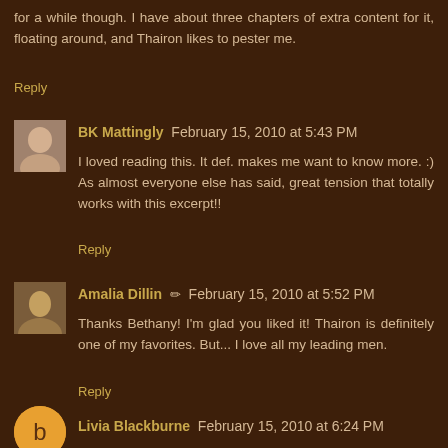for a while though. I have about three chapters of extra content for it, floating around, and Thairon likes to pester me.
Reply
BK Mattingly  February 15, 2010 at 5:43 PM
I loved reading this. It def. makes me want to know more. :) As almost everyone else has said, great tension that totally works with this excerpt!!
Reply
Amalia Dillin ✏ February 15, 2010 at 5:52 PM
Thanks Bethany! I'm glad you liked it! Thairon is definitely one of my favorites. But... I love all my leading men.
Reply
Livia Blackburne  February 15, 2010 at 6:24 PM